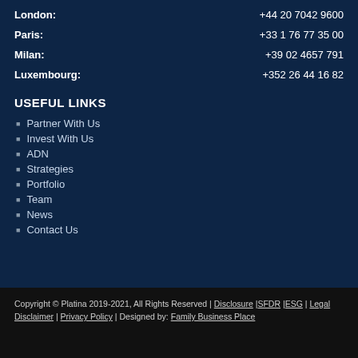London: +44 20 7042 9600
Paris: +33 1 76 77 35 00
Milan: +39 02 4657 791
Luxembourg: +352 26 44 16 82
USEFUL LINKS
Partner With Us
Invest With Us
ADN
Strategies
Portfolio
Team
News
Contact Us
Copyright © Platina 2019-2021, All Rights Reserved | Disclosure |SFDR |ESG | Legal Disclaimer | Privacy Policy | Designed by: Family Business Place